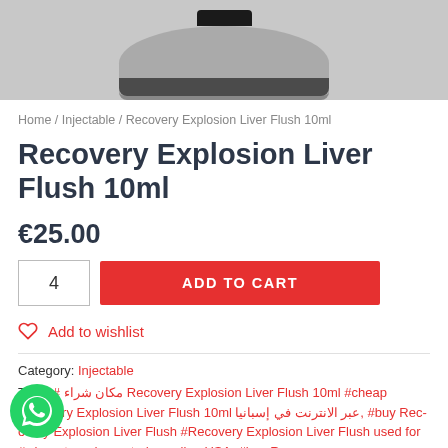[Figure (photo): Product photo showing bottom portion of a dark-capped bottle against grey background]
Home / Injectable / Recovery Explosion Liver Flush 10ml
Recovery Explosion Liver Flush 10ml
€25.00
4  ADD TO CART
Add to wishlist
Category: Injectable
Tags: # مكان شراء Recovery Explosion Liver Flush 10ml #cheap Recovery Explosion Liver Flush 10ml عبر الانترنت في إسبانيا, #buy Recovery Explosion Liver Flush #Recovery Explosion Liver Flush used for #where to order cortedax online USA, #buy Recovery